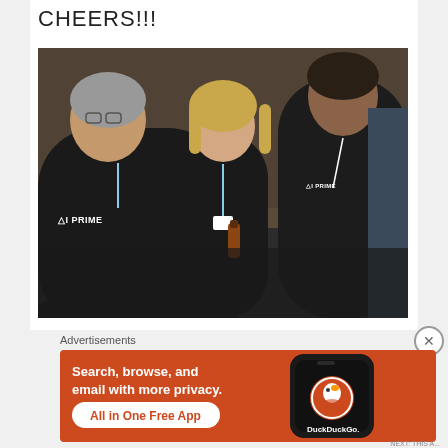CHEERS!!!
[Figure (photo): Three people in black AI PRIME branded t-shirts at what appears to be a networking event or conference social. Two people face away from camera showing logos on their backs, while a blonde woman in the center faces the camera holding a bottle.]
Advertisements
[Figure (infographic): DuckDuckGo advertisement banner with orange background. Text reads: Search, browse, and email with more privacy. All in One Free App. Shows a smartphone mockup with DuckDuckGo logo on a dark background.]